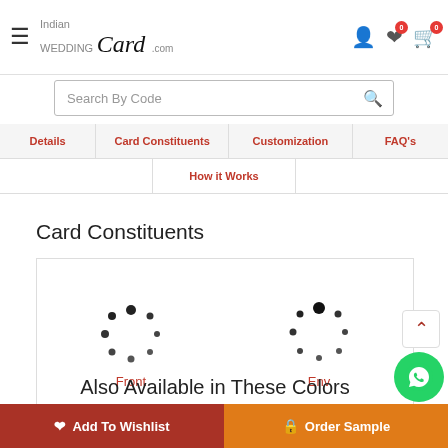Indian Wedding Card .com — Navigation header with hamburger menu, logo, user, wishlist, and cart icons
Search By Code
Details | Card Constituents | Customization | FAQ's | How it Works
Card Constituents
[Figure (illustration): Two loading spinner circle dot animations labeled Front and Env]
Also Available in These Colors
Add To Wishlist
Order Sample